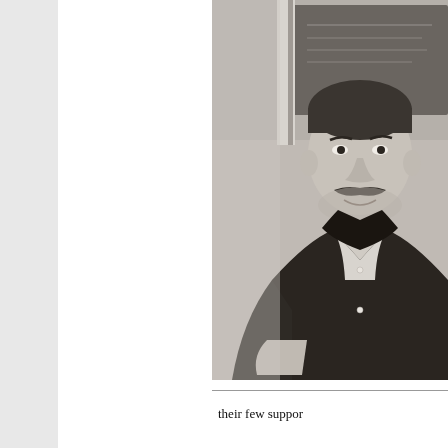[Figure (photo): Black and white photograph of a man with a mustache, wearing a light-colored shirt and dark jacket, seated, with what appears to be a chalkboard or display in the background. The photo is cropped on the right edge.]
their few suppor